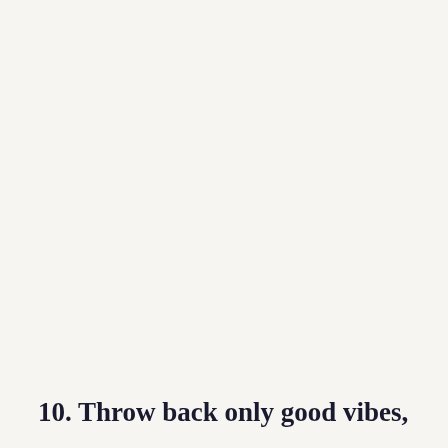10. Throw back only good vibes,